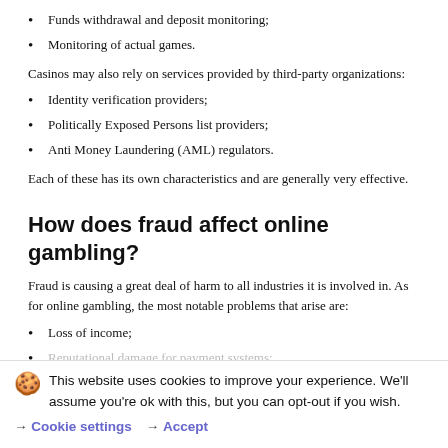Funds withdrawal and deposit monitoring;
Monitoring of actual games.
Casinos may also rely on services provided by third-party organizations:
Identity verification providers;
Politically Exposed Persons list providers;
Anti Money Laundering (AML) regulators.
Each of these has its own characteristics and are generally very effective.
How does fraud affect online gambling?
Fraud is causing a great deal of harm to all industries it is involved in. As for online gambling, the most notable problems that arise are:
Loss of income;
Reputational damage for payment systems;
This website uses cookies to improve your experience. We'll assume you're ok with this, but you can opt-out if you wish.